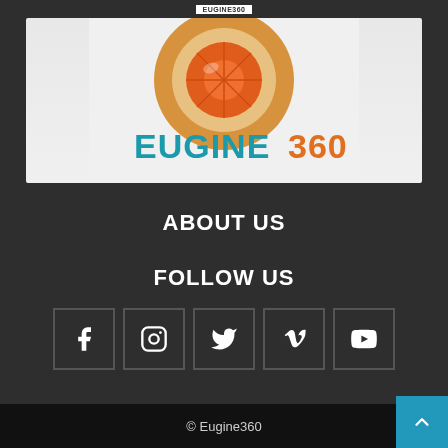EUGINE360
[Figure (logo): Eugine360 brand logo with orange citrus slice graphic and teal/orange EUGINE360 text on light background]
ABOUT US
FOLLOW US
[Figure (other): Row of five social media icon boxes: Facebook, Instagram, Twitter, Vimeo, YouTube]
© Eugine360